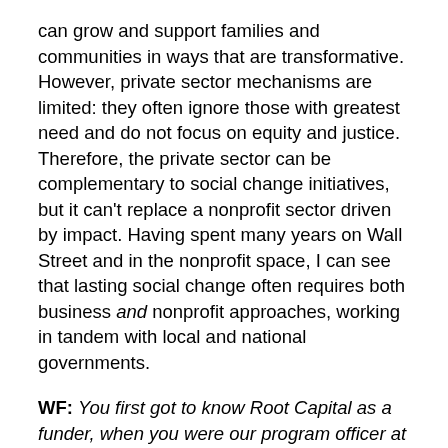can grow and support families and communities in ways that are transformative. However, private sector mechanisms are limited: they often ignore those with greatest need and do not focus on equity and justice. Therefore, the private sector can be complementary to social change initiatives, but it can’t replace a nonprofit sector driven by impact. Having spent many years on Wall Street and in the nonprofit space, I can see that lasting social change often requires both business and nonprofit approaches, working in tandem with local and national governments.
WF: You first got to know Root Capital as a funder, when you were our program officer at the Skoll Foundation. What stood out for you about the organization or our mission?